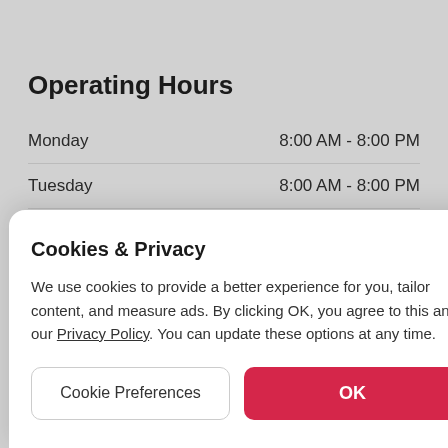Operating Hours
Monday    8:00 AM - 8:00 PM
Tuesday    8:00 AM - 8:00 PM
W    M
T    M
F    M
S    M
Cookies & Privacy
We use cookies to provide a better experience for you, tailor content, and measure ads. By clicking OK, you agree to this and our Privacy Policy. You can update these options at any time.
Cookie Preferences
OK